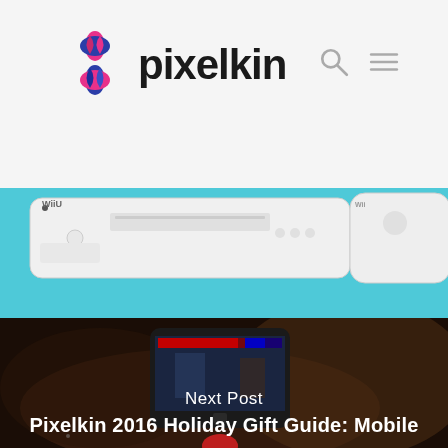pixelkin
[Figure (screenshot): Pixelkin website header with logo (colorful 4-petal icon + 'pixelkin' text in bold black), search icon, and hamburger menu icon on light gray background]
[Figure (photo): Wii U gaming console in white on a teal/turquoise background, showing the console and gamepad]
[Figure (photo): Person holding a smartphone playing a mobile fighting game, with overlay text 'Next Post - Pixelkin 2016 Holiday Gift Guide: Mobile']
Next Post
Pixelkin 2016 Holiday Gift Guide: Mobile